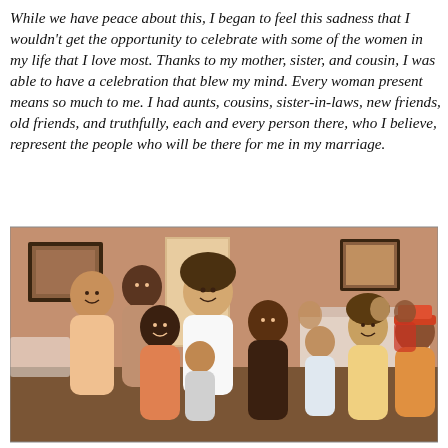While we have peace about this, I began to feel this sadness that I wouldn't get the opportunity to celebrate with some of the women in my life that I love most. Thanks to my mother, sister, and cousin, I was able to have a celebration that blew my mind. Every woman present means so much to me. I had aunts, cousins, sister-in-laws, new friends, old friends, and truthfully, each and every person there, who I believe, represent the people who will be there for me in my marriage.
[Figure (photo): Group photo of women gathered at a celebration event inside a restaurant/banquet hall. Multiple women of various ages are smiling and posing together. The room has warm brown walls, framed pictures on the wall, and white tablecloth-covered tables in the background.]